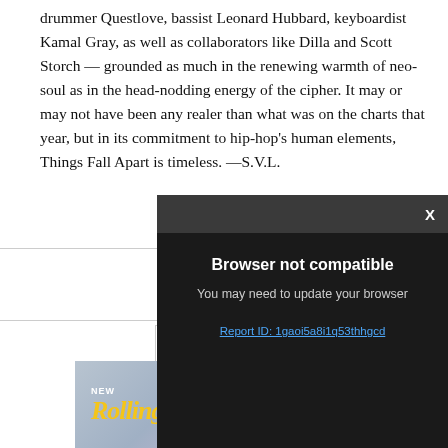drummer Questlove, bassist Leonard Hubbard, keyboardist Kamal Gray, as well as collaborators like Dilla and Scott Storch — grounded as much in the renewing warmth of neo-soul as in the head-nodding energy of the cipher. It may or may not have been any realer than what was on the charts that year, but in its commitment to hip-hop's human elements, Things Fall Apart is timeless. —S.V.L.
[Figure (screenshot): Browser not compatible overlay dialog with dark background, title 'Browser not compatible', subtitle 'You may need to update your browser', and a report ID link: 'Report ID: 1gaoi5a8i1q53thhgcd']
[Figure (other): Rolling Stone magazine advertisement banner: NEW Rolling Stone, ON SALE SEP 5, SUBSCRIBE button]